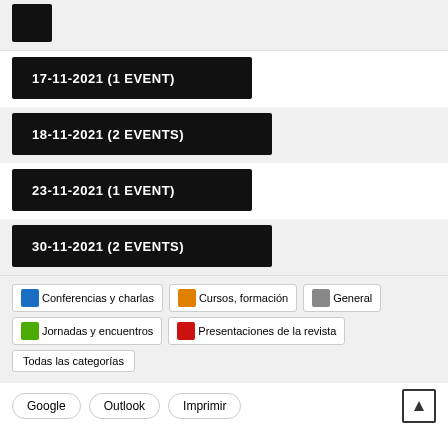(clipped top date bar)
17-11-2021 (1 EVENT)
18-11-2021 (2 EVENTS)
23-11-2021 (1 EVENT)
30-11-2021 (2 EVENTS)
Conferencias y charlas
Cursos, formación
General
Jornadas y encuentros
Presentaciones de la revista
Todas las categorías
Google  Outlook  Imprimir